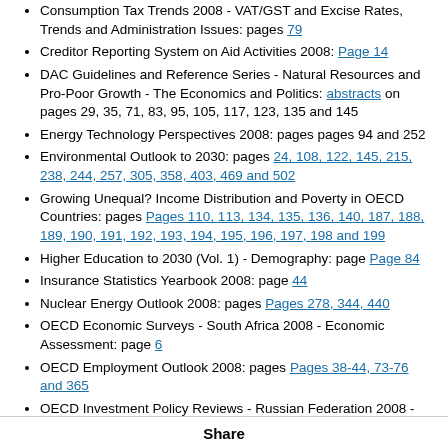Consumption Tax Trends 2008 - VAT/GST and Excise Rates, Trends and Administration Issues: pages 79
Creditor Reporting System on Aid Activities 2008: Page 14
DAC Guidelines and Reference Series - Natural Resources and Pro-Poor Growth - The Economics and Politics: abstracts on pages 29, 35, 71, 83, 95, 105, 117, 123, 135 and 145
Energy Technology Perspectives 2008: pages pages 94 and 252
Environmental Outlook to 2030: pages 24, 108, 122, 145, 215, 238, 244, 257, 305, 358, 403, 469 and 502
Growing Unequal? Income Distribution and Poverty in OECD Countries: pages Pages 110, 113, 134, 135, 136, 140, 187, 188, 189, 190, 191, 192, 193, 194, 195, 196, 197, 198 and 199
Higher Education to 2030 (Vol. 1) - Demography: page Page 84
Insurance Statistics Yearbook 2008: page 44
Nuclear Energy Outlook 2008: pages Pages 278, 344, 440
OECD Economic Surveys - South Africa 2008 - Economic Assessment: page 6
OECD Employment Outlook 2008: pages Pages 38-44, 73-76 and 365
OECD Investment Policy Reviews - Russian Federation 2008 - Strengthening the Policy Framework for Investment: page 15
OECD Science, Technology and Industry Outlook 2008: page Page 159
Sickness, Disability and Work: Breaking the Barriers (Vol. 3):
Share